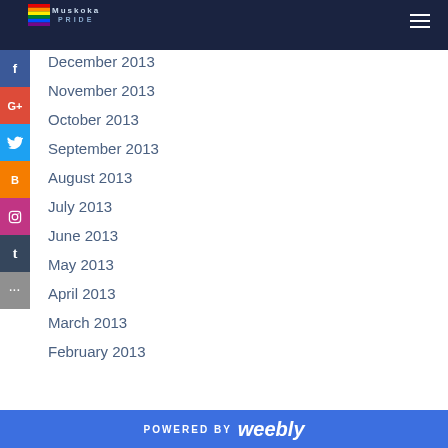Muskoka Pride - navigation header with social sidebar
December 2013
November 2013
October 2013
September 2013
August 2013
July 2013
June 2013
May 2013
April 2013
March 2013
February 2013
POWERED BY weebly